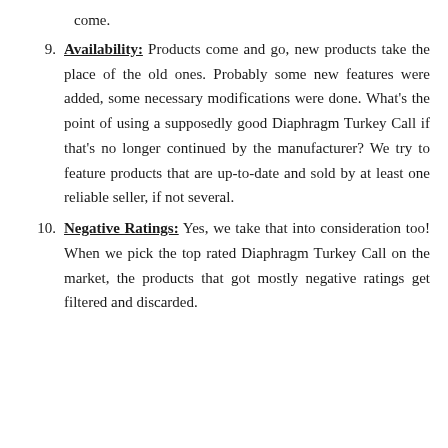come.
9. Availability: Products come and go, new products take the place of the old ones. Probably some new features were added, some necessary modifications were done. What’s the point of using a supposedly good Diaphragm Turkey Call if that’s no longer continued by the manufacturer? We try to feature products that are up-to-date and sold by at least one reliable seller, if not several.
10. Negative Ratings: Yes, we take that into consideration too! When we pick the top rated Diaphragm Turkey Call on the market, the products that got mostly negative ratings get filtered and discarded.